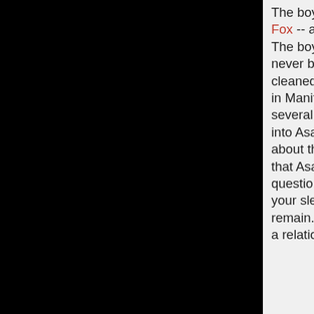The boys ask her what's wrong, and she tells them a friend of hers died -- Asa Fox -- and they're having a wake tonight with a hunter's funeral the next day. The boys insist on going with her to support her, and also because they've never been to a hunter's gathering before. She tells them they'll have to get cleaned up before they spend five hours in a car together, as the gathering is in Manitoba, Canada. They arrive and meet Asa's mom Lorraine Fox and several hunters, amongst them Elvis Katz and Bucky Sims. Dean wanders into Asa's office where Sam finds him. Sam talks about how people tell stories about them, and when Dean mentions they're "kinda legendary", Sam says that Asa was too. Dean states that's how it usually goes for hunters, Sam questions it and Dean explains that they're not in the "live till you're 90, die in your sleep" business. Later, most of the hunters have left and only a handful remain. Bucky begins telling a story about Asa and reveals Jody and Asa had a relationship, when suddenly Mary arrives. Dean asks where she's